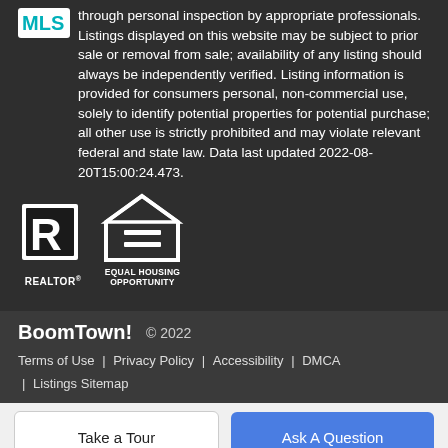[Figure (logo): MLS logo (teal text on white background)]
through personal inspection by appropriate professionals. Listings displayed on this website may be subject to prior sale or removal from sale; availability of any listing should always be independently verified. Listing information is provided for consumers personal, non-commercial use, solely to identify potential properties for potential purchase; all other use is strictly prohibited and may violate relevant federal and state law. Data last updated 2022-08-20T15:00:24.473.
[Figure (logo): REALTOR R logo (white R in black box) and Equal Housing Opportunity logo (white house icon with equal sign)]
BoomTown!  © 2022
Terms of Use | Privacy Policy | Accessibility | DMCA | Listings Sitemap
Take a Tour
Ask A Question